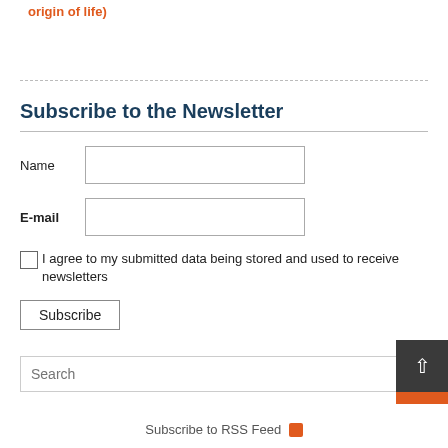origin of life)
Subscribe to the Newsletter
Name
E-mail
I agree to my submitted data being stored and used to receive newsletters
Subscribe
Search
Subscribe to RSS Feed